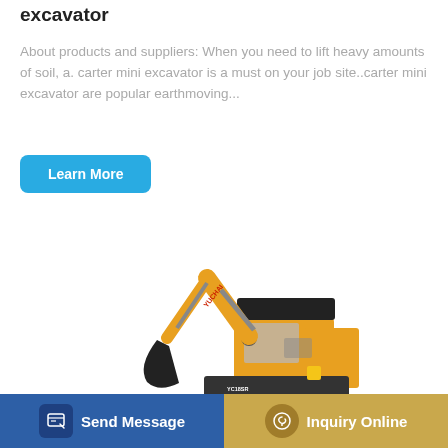excavator
About products and suppliers: When you need to lift heavy amounts of soil, a. carter mini excavator is a must on your job site..carter mini excavator are popular earthmoving...
Learn More
[Figure (photo): Yellow mini excavator (YUCHAI brand, model YC18SR) with black canopy, showing the arm extended with bucket attachment, on tracks]
Send Message
Inquiry Online